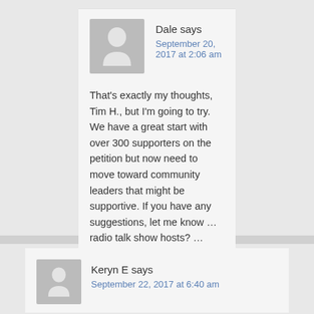Dale says
September 20, 2017 at 2:06 am
That's exactly my thoughts, Tim H., but I'm going to try. We have a great start with over 300 supporters on the petition but now need to move toward community leaders that might be supportive. If you have any suggestions, let me know … radio talk show hosts? … college professors? … other alternative newspapers?
Keryn E says
September 22, 2017 at 6:40 am